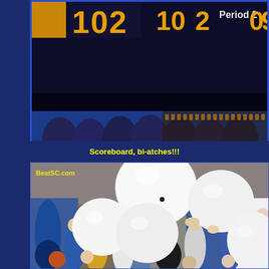[Figure (photo): Scoreboard photo showing '102 10 2 Period 2 0 9' in yellow/gold LED digits on a dark background with blue decorative elements at the bottom]
Scoreboard, bi-atches!!!
[Figure (photo): Crowd of fans with large white balloons at what appears to be a UCLA basketball game. People are wearing UCLA blue and gold gear. Watermark 'BeatSC.com' in yellow text at top left.]